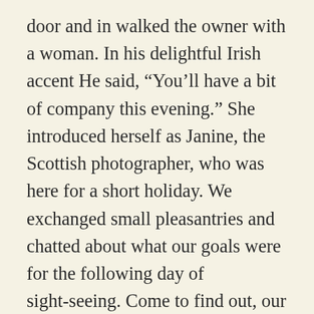door and in walked the owner with a woman. In his delightful Irish accent He said, “You’ll have a bit of company this evening.” She introduced herself as Janine, the Scottish photographer, who was here for a short holiday. We exchanged small pleasantries and chatted about what our goals were for the following day of sight-seeing. Come to find out, our goal in sightseeing were pretty much the same. Janine said, “I’ve a car hire (rented car). You ought to come along with me. I’ve got the car anyway with more than enough space. It’s no bother, it will be good fun.” And you